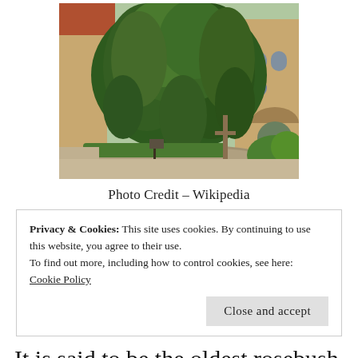[Figure (photo): Large rosebush or climbing plant with dense green foliage growing up tall, covering what appears to be a historic building courtyard with a circular garden bed and a cross or post visible. Red tiled roof and stone arched windows visible in background.]
Photo Credit – Wikipedia
Privacy & Cookies: This site uses cookies. By continuing to use this website, you agree to their use.
To find out more, including how to control cookies, see here:
Cookie Policy

Close and accept
It is said to be the oldest rosebush in the